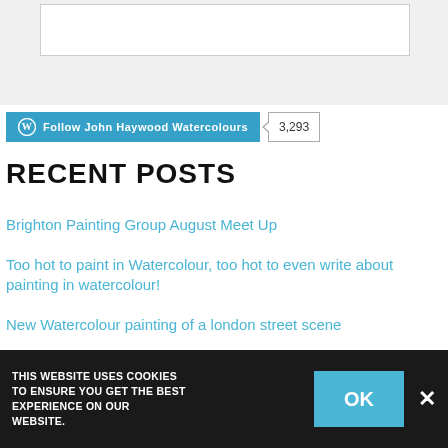[Figure (screenshot): Top portion of a webpage showing a white input box on a light grey background — partial UI element cropped at top]
Follow John Haywood Watercolours  3,293
RECENT POSTS
Brighton Painting Group August Meet Up
Too hot to paint in Watercolour, too hot to even write about painting in watercolour!
New Watercolour painting of a london street scene
Brighton Painting Group, July meet up in Hove Park
so much to say, so little time to say it!
THIS WEBSITE USES COOKIES TO ENSURE YOU GET THE BEST EXPERIENCE ON OUR WEBSITE.